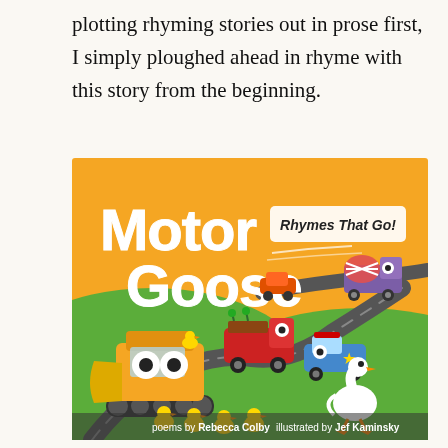plotting rhyming stories out in prose first, I simply ploughed ahead in rhyme with this story from the beginning.
[Figure (illustration): Book cover for 'Motor Goose: Rhymes That Go!' — orange background with cartoon vehicle characters including a yellow bulldozer, red truck, orange car, purple cement mixer, blue and white police car, and a white goose with yellow ducklings. Text reads: 'Motor Goose Rhymes That Go!' with 'poems by Rebecca Colby' and 'illustrated by Jef Kaminsky' at the bottom.]